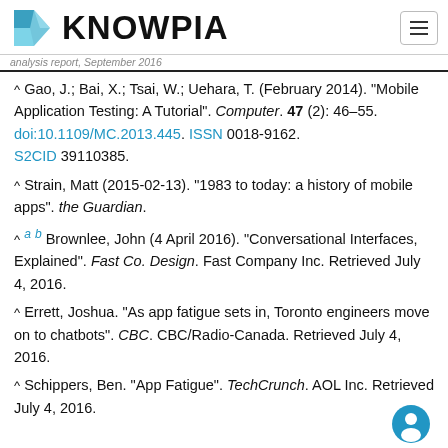KNOWPIA
^ Gao, J.; Bai, X.; Tsai, W.; Uehara, T. (February 2014). "Mobile Application Testing: A Tutorial". Computer. 47 (2): 46–55. doi:10.1109/MC.2013.445. ISSN 0018-9162. S2CID 39110385.
^ Strain, Matt (2015-02-13). "1983 to today: a history of mobile apps". the Guardian.
^ a b Brownlee, John (4 April 2016). "Conversational Interfaces, Explained". Fast Co. Design. Fast Company Inc. Retrieved July 4, 2016.
^ Errett, Joshua. "As app fatigue sets in, Toronto engineers move on to chatbots". CBC. CBC/Radio-Canada. Retrieved July 4, 2016.
^ Schippers, Ben. "App Fatigue". TechCrunch. AOL Inc. Retrieved July 4, 2016.